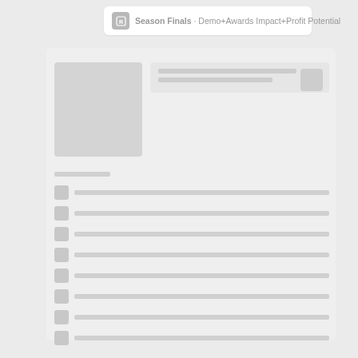Season Finals · Demo+Awards Impact+Profit Potential
[Figure (screenshot): A content panel with thumbnail image area on the left and list items with icons on the right, rendered in light gray tones on a light background.]